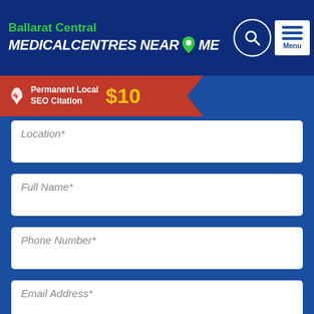[Figure (screenshot): Website header for Ballarat Central - Medical Centres Near Me with search and menu icons]
[Figure (infographic): Red banner advertising Permanent Local SEO Citation for $10]
Location*
Full Name*
Phone Number*
Email Address*
* Mandatory fields
Briefly describe any specific requirements or instructions